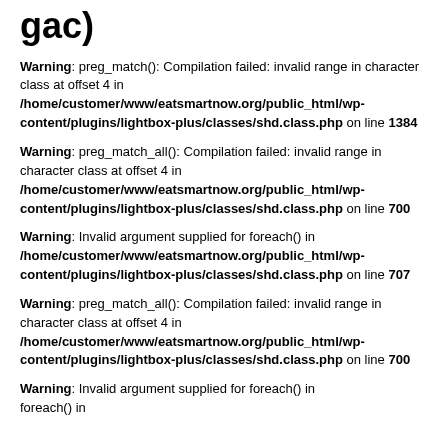gac)
Warning: preg_match(): Compilation failed: invalid range in character class at offset 4 in /home/customer/www/eatsmartnow.org/public_html/wp-content/plugins/lightbox-plus/classes/shd.class.php on line 1384
Warning: preg_match_all(): Compilation failed: invalid range in character class at offset 4 in /home/customer/www/eatsmartnow.org/public_html/wp-content/plugins/lightbox-plus/classes/shd.class.php on line 700
Warning: Invalid argument supplied for foreach() in /home/customer/www/eatsmartnow.org/public_html/wp-content/plugins/lightbox-plus/classes/shd.class.php on line 707
Warning: preg_match_all(): Compilation failed: invalid range in character class at offset 4 in /home/customer/www/eatsmartnow.org/public_html/wp-content/plugins/lightbox-plus/classes/shd.class.php on line 700
Warning: Invalid argument supplied for foreach() in